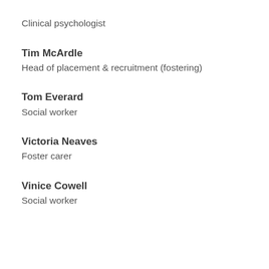Clinical psychologist
Tim McArdle
Head of placement & recruitment (fostering)
Tom Everard
Social worker
Victoria Neaves
Foster carer
Vinice Cowell
Social worker